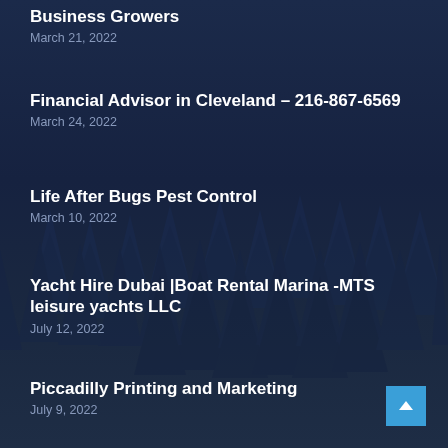Business Growers
March 21, 2022
Financial Advisor in Cleveland – 216-867-6569
March 24, 2022
Life After Bugs Pest Control
March 10, 2022
Yacht Hire Dubai |Boat Rental Marina -MTS leisure yachts LLC
July 12, 2022
Piccadilly Printing and Marketing
July 9, 2022